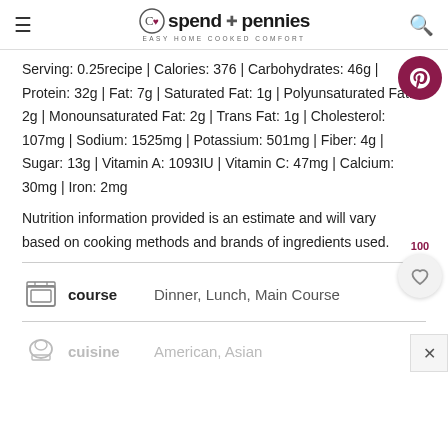spend pennies — EASY HOME COOKED COMFORT
Serving: 0.25recipe | Calories: 376 | Carbohydrates: 46g | Protein: 32g | Fat: 7g | Saturated Fat: 1g | Polyunsaturated Fat: 2g | Monounsaturated Fat: 2g | Trans Fat: 1g | Cholesterol: 107mg | Sodium: 1525mg | Potassium: 501mg | Fiber: 4g | Sugar: 13g | Vitamin A: 1093IU | Vitamin C: 47mg | Calcium: 30mg | Iron: 2mg
Nutrition information provided is an estimate and will vary based on cooking methods and brands of ingredients used.
course   Dinner, Lunch, Main Course
cuisine   American, Asian